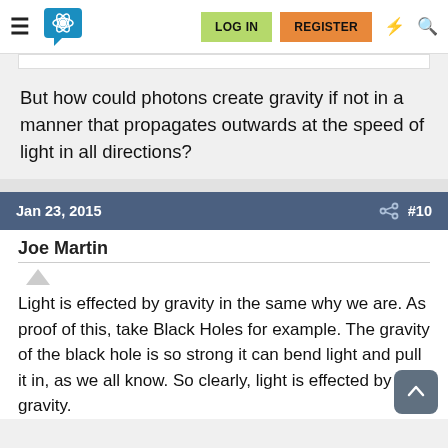LOG IN  REGISTER
But how could photons create gravity if not in a manner that propagates outwards at the speed of light in all directions?
Jan 23, 2015  #10
Joe Martin
Light is effected by gravity in the same why we are. As proof of this, take Black Holes for example. The gravity of the black hole is so strong it can bend light and pull it in, as we all know. So clearly, light is effected by gravity.